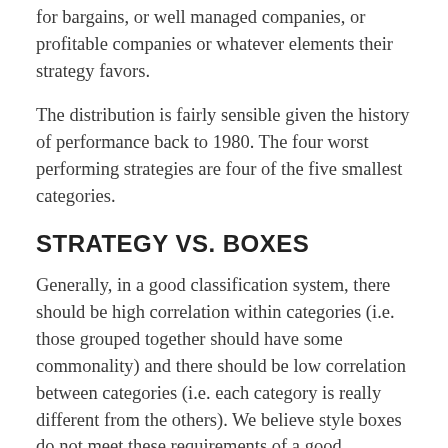for bargains, or well managed companies, or profitable companies or whatever elements their strategy favors.
The distribution is fairly sensible given the history of performance back to 1980. The four worst performing strategies are four of the five smallest categories.
STRATEGY VS. BOXES
Generally, in a good classification system, there should be high correlation within categories (i.e. those grouped together should have some commonality) and there should be low correlation between categories (i.e. each category is really different from the others). We believe style boxes do not meet these requirements of a good classification system. In fact, we have found almost the opposite, with style boxes having low correlation within boxes and high correlation between boxes. From our review of data, we believe classifying funds by style boxes may actually be worse than classifying funds randomly. In contrast to the style boxes, we have found that when